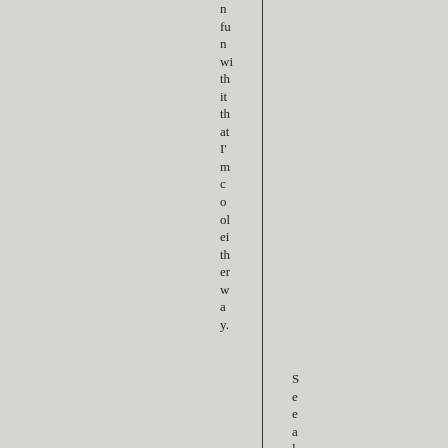n fun with it that I'm cool either way.
See also: